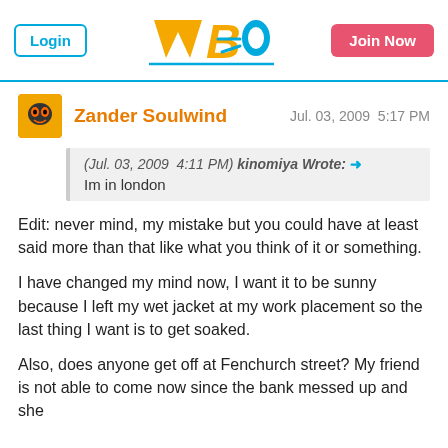[Figure (logo): WBO website logo with Login button and Join Now button in header]
Zander Soulwind
Jul. 03, 2009  5:17 PM
(Jul. 03, 2009  4:11 PM) kinomiya Wrote: → Im in london
Edit: never mind, my mistake but you could have at least said more than that like what you think of it or something.
I have changed my mind now, I want it to be sunny because I left my wet jacket at my work placement so the last thing I want is to get soaked.
Also, does anyone get off at Fenchurch street? My friend is not able to come now since the bank messed up and she